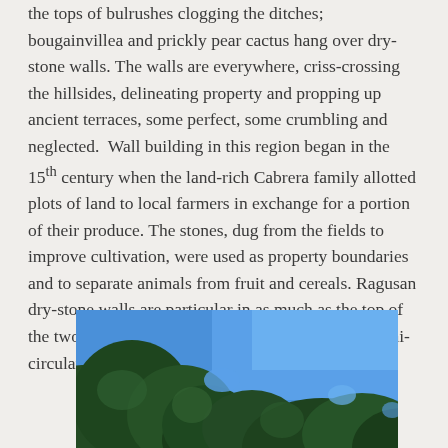the tops of bulrushes clogging the ditches; bougainvillea and prickly pear cactus hang over dry-stone walls. The walls are everywhere, criss-crossing the hillsides, delineating property and propping up ancient terraces, some perfect, some crumbling and neglected. Wall building in this region began in the 15th century when the land-rich Cabrera family allotted plots of land to local farmers in exchange for a portion of their produce. The stones, dug from the fields to improve cultivation, were used as property boundaries and to separate animals from fruit and cereals. Ragusan dry-stone walls are particular in as much as the top of the two parallel walls are crowned with a row of semi-circular stones.
[Figure (photo): Photo of trees with dense green foliage against a blue sky background]